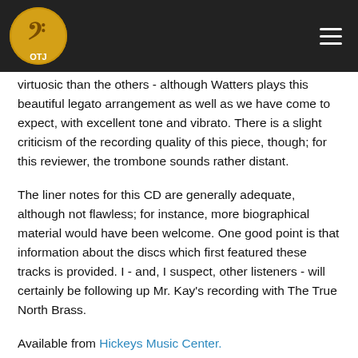OTJ logo and navigation
virtuosic than the others - although Watters plays this beautiful legato arrangement as well as we have come to expect, with excellent tone and vibrato. There is a slight criticism of the recording quality of this piece, though; for this reviewer, the trombone sounds rather distant.
The liner notes for this CD are generally adequate, although not flawless; for instance, more biographical material would have been welcome. One good point is that information about the discs which first featured these tracks is provided. I - and, I suspect, other listeners - will certainly be following up Mr. Kay's recording with The True North Brass.
Available from Hickeys Music Center.